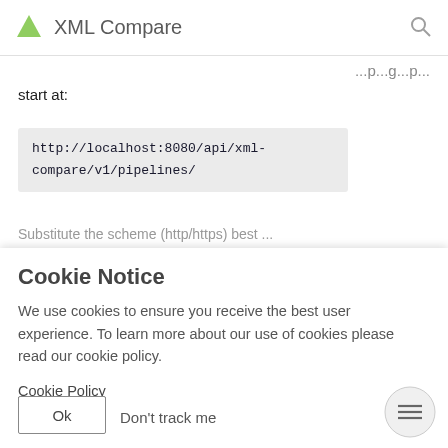XML Compare
start at:
http://localhost:8080/api/xml-compare/v1/pipelines/
Cookie Notice
We use cookies to ensure you receive the best user experience. To learn more about our use of cookies please read our cookie policy.
Cookie Policy
Ok
Don't track me